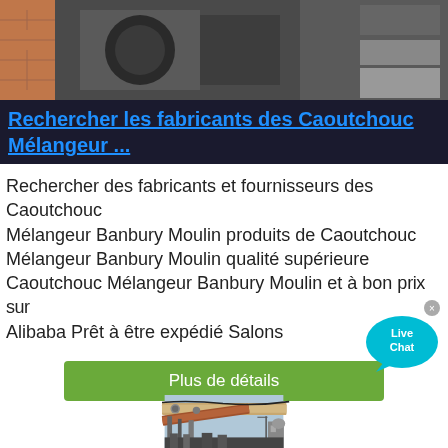[Figure (photo): Industrial machinery equipment photo at the top of the page]
Rechercher les fabricants des Caoutchouc Mélangeur ...
Rechercher des fabricants et fournisseurs des Caoutchouc Mélangeur Banbury Moulin produits de Caoutchouc Mélangeur Banbury Moulin qualité supérieure Caoutchouc Mélangeur Banbury Moulin et à bon prix sur Alibaba Prêt à être expédié Salons
[Figure (other): Live Chat bubble icon in cyan/blue color]
Plus de détails
[Figure (photo): Industrial factory with large pipes and equipment, photographed from below against a blue sky]